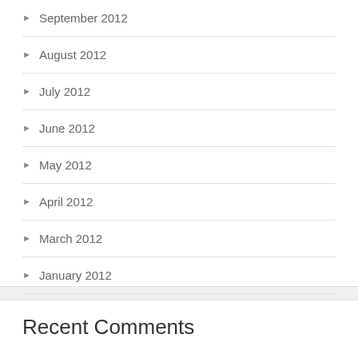September 2012
August 2012
July 2012
June 2012
May 2012
April 2012
March 2012
January 2012
Recent Comments